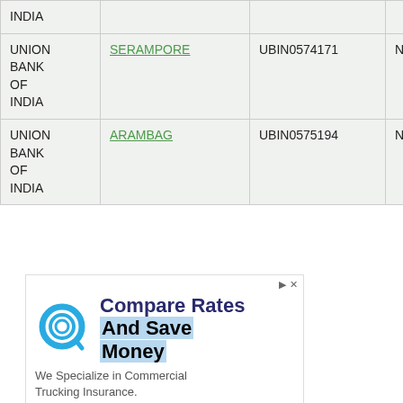| Bank | Branch | IFSC Code | MICR Code |
| --- | --- | --- | --- |
| UNION BANK OF INDIA |  |  |  |
| UNION BANK OF INDIA | SERAMPORE | UBIN0574171 | NA |
| UNION BANK OF INDIA | ARAMBAG | UBIN0575194 | NA |
[Figure (infographic): Advertisement banner: Quantum Assurance - Compare Rates And Save Money. We Specialize in Commercial Trucking Insurance.]